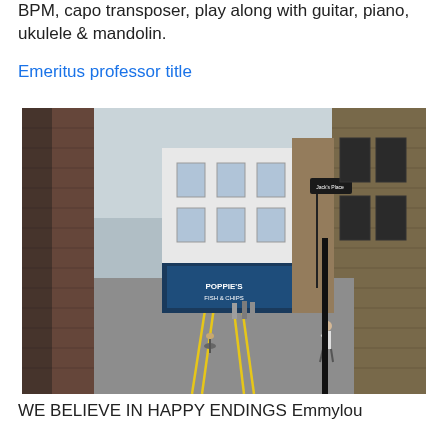BPM, capo transposer, play along with guitar, piano, ukulele & mandolin.
Emeritus professor title
[Figure (photo): Street-level photograph of a narrow London alley or lane, with brick buildings on both sides, a white-fronted building at the end with a shop sign reading 'POPPIE'S FISH & CHIPS', pedestrians and a cyclist visible, cobblestones and double yellow lines on the road.]
WE BELIEVE IN HAPPY ENDINGS Emmylou